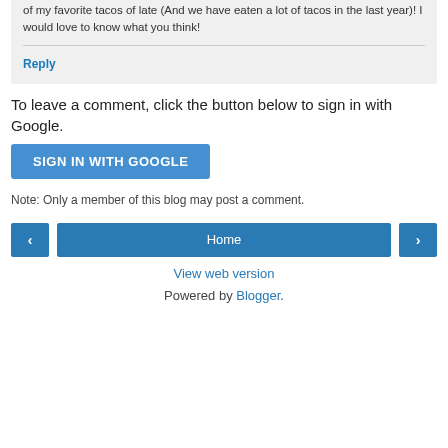of my favorite tacos of late (And we have eaten a lot of tacos in the last year)! I would love to know what you think!
Reply
To leave a comment, click the button below to sign in with Google.
SIGN IN WITH GOOGLE
Note: Only a member of this blog may post a comment.
< Home >
View web version
Powered by Blogger.